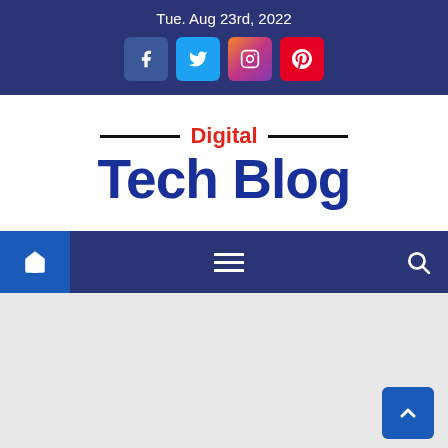Tue. Aug 23rd, 2022
Digital Tech Blog
[Figure (screenshot): Navigation bar with home icon, hamburger menu, and search icon on dark blue background]
[Figure (other): Content area - light grey empty area with scroll-to-top button in bottom right corner]